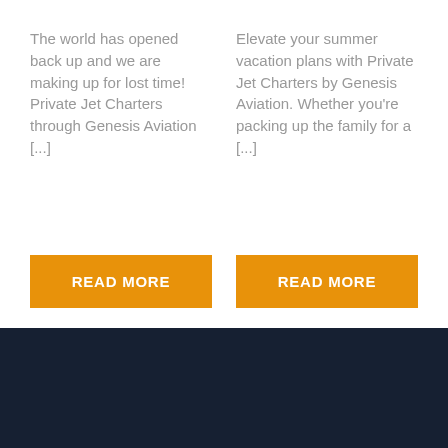The world has opened back up and we are making up for lost time! Private Jet Charters through Genesis Aviation [...]
READ MORE
Elevate your summer vacation plans with Private Jet Charters by Genesis Aviation. Whether you're packing up the family for a [...]
READ MORE